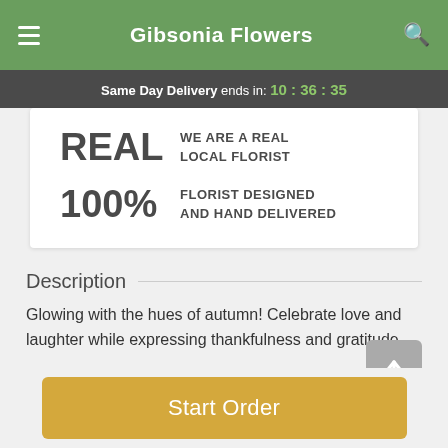Gibsonia Flowers
Same Day Delivery ends in: 10:36:35
REAL WE ARE A REAL LOCAL FLORIST
100% FLORIST DESIGNED AND HAND DELIVERED
Description
Glowing with the hues of autumn! Celebrate love and laughter while expressing thankfulness and gratitude
Start Order